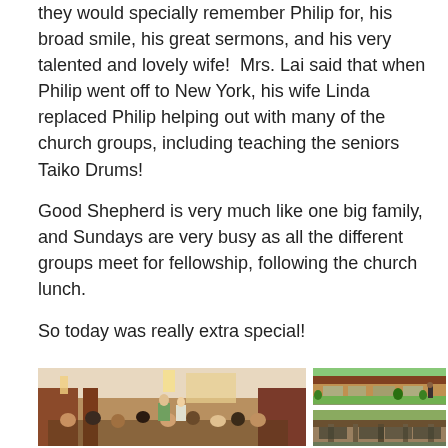they would specially remember Philip for, his broad smile, his great sermons, and his very talented and lovely wife!  Mrs. Lai said that when Philip went off to New York, his wife Linda replaced Philip helping out with many of the church groups, including teaching the seniors Taiko Drums!
Good Shepherd is very much like one big family, and Sundays are very busy as all the different groups meet for fellowship, following the church lunch.
So today was really extra special!
[Figure (photo): Interior of a church with people seated in pews facing a speaker at the front, brick walls and hanging light fixtures visible]
[Figure (photo): Exterior courtyard view of a building with green floor and tropical plants]
[Figure (photo): Exterior view of a low building with overhanging roof]